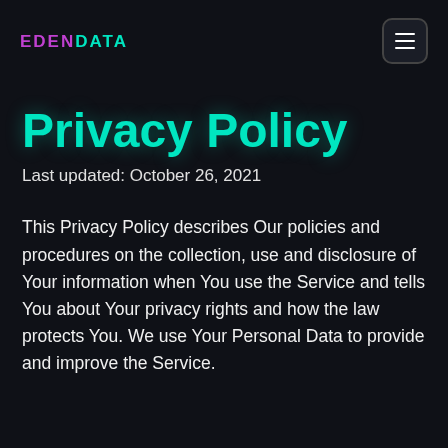EDENDATA
Privacy Policy
Last updated: October 26, 2021
This Privacy Policy describes Our policies and procedures on the collection, use and disclosure of Your information when You use the Service and tells You about Your privacy rights and how the law protects You. We use Your Personal Data to provide and improve the Service.